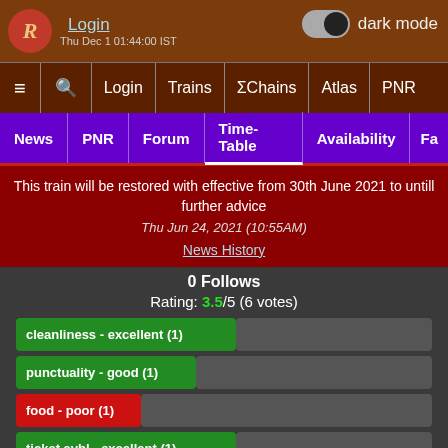Login | dark mode | Thu Dec 1 01:44:00 IST
≡ 🔍 Login Trains ΣChains Atlas PNR
News | PNR | Forum | Time-Table | Availability | Fa
This train will be restored with effective from 30th June 2021 to untill further advice
Thu Jun 24, 2021 (10:55AM)
News History
0 Follows
Rating: 3.5/5 (6 votes)
cleanliness - excellent (1)
punctuality - good (1)
food - poor (1)
ticket avbl - excellent (1)
u/r coach - excellent (1)
railfanning - poor (1)
safety - excellent (1)